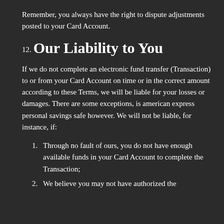Remember, you always have the right to dispute adjustments posted to your Card Account.
12. Our Liability to You
If we do not complete an electronic fund transfer (Transaction) to or from your Card Account on time or in the correct amount according to these Terms, we will be liable for your losses or damages. There are some exceptions, is american express personal savings safe however. We will not be liable, for instance, if:
1. Through no fault of ours, you do not have enough available funds in your Card Account to complete the Transaction;
2. We believe you may not have authorized the Transaction;